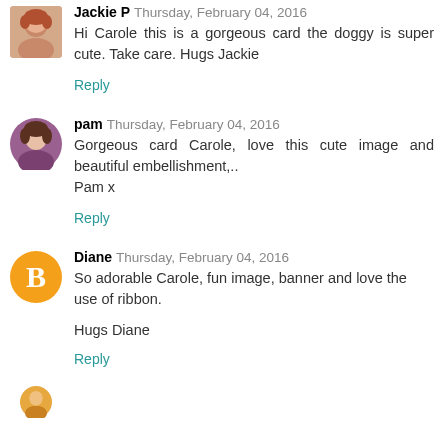[Figure (photo): Avatar photo of Jackie P, a woman with short reddish hair]
Jackie P  Thursday, February 04, 2016
Hi Carole this is a gorgeous card the doggy is super cute. Take care. Hugs Jackie
Reply
[Figure (photo): Avatar photo of Pam, a woman with short dark hair wearing purple]
pam  Thursday, February 04, 2016
Gorgeous card Carole, love this cute image and beautiful embellishment,..
Pam x
Reply
[Figure (logo): Blogger icon - orange circle with white B letter]
Diane  Thursday, February 04, 2016
So adorable Carole, fun image, banner and love the use of ribbon.
Hugs Diane
Reply
[Figure (photo): Partial avatar at bottom of page]